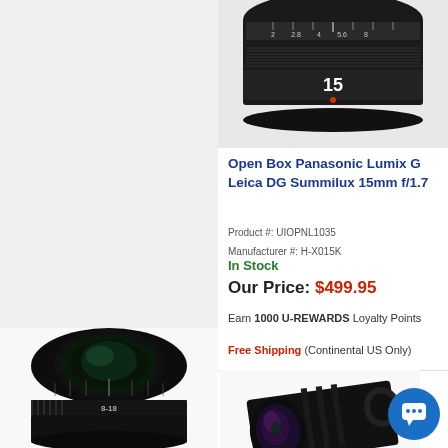[Figure (photo): Close-up photo of Panasonic Lumix G Leica DG Summilux 15mm f/1.7 lens, top portion showing aperture ring with markings, black finish]
Open Box Panasonic Lumix G Leica DG Summilux 15mm f/1.7
Product #: UIOPNL1035
Manufacturer #: H-X015K
In Stock
Our Price: $499.95
Earn 1000 U-REWARDS Loyalty Points
Free Shipping (Continental US Only)
[Figure (photo): Wide-angle black camera lens, Panasonic Lumix 8-18mm, shown at an angle on white background]
[Figure (photo): Large telephoto/portrait lens with purple-tinted front element, black finish, shown at angle on white/light background]